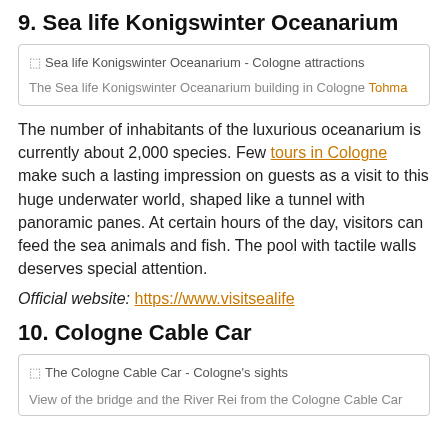9. Sea life Konigswinter Oceanarium
[Figure (photo): Sea life Konigswinter Oceanarium - Cologne attractions. Caption: The Sea life Konigswinter Oceanarium building in Cologne Tohma]
The number of inhabitants of the luxurious oceanarium is currently about 2,000 species. Few tours in Cologne make such a lasting impression on guests as a visit to this huge underwater world, shaped like a tunnel with panoramic panes. At certain hours of the day, visitors can feed the sea animals and fish. The pool with tactile walls deserves special attention.
Official website: https://www.visitsealife
10. Cologne Cable Car
[Figure (photo): The Cologne Cable Car - Cologne's sights. Caption: View of the bridge and the River Rei from the Cologne Cable Car]